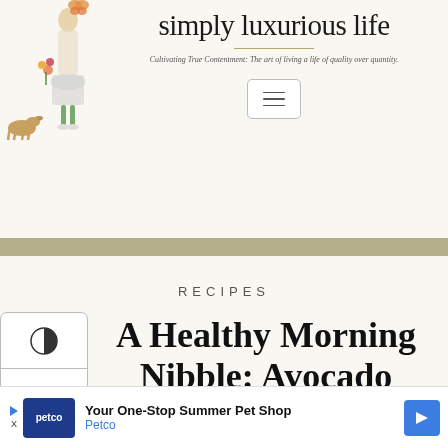[Figure (illustration): Illustrated woman in dress holding flowers with a small dog, blog logo illustration]
simply luxurious life
Cultivating True Contentment: The art of living a life of quality over quantity.
[Figure (other): Navigation hamburger menu button]
RECIPES
A Healthy Morning Nibble: Avocado Toast
Tuesday May 22, 2018
[Figure (other): Advertisement banner: Your One-Stop Summer Pet Shop - Petco]